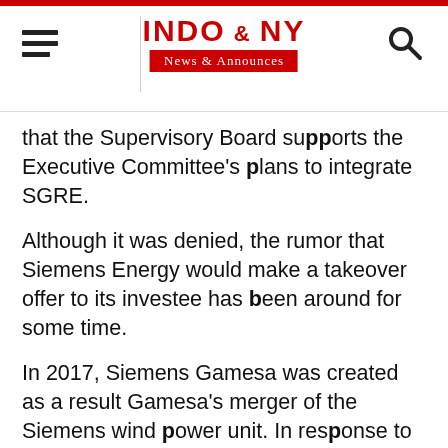INDO & NY News & Announces
that the Supervisory Board supports the Executive Committee's plans to integrate SGRE.
Although it was denied, the rumor that Siemens Energy would make a takeover offer to its investee has been around for some time.
In 2017, Siemens Gamesa was created as a result Gamesa's merger of the Siemens wind power unit. In response to the objectives of the industrial project, the CNMV exempted the German company from submitting a takeover offer. After purchasing its 8% share in Iberdrola, the German multinational raised its stake to 67% by 2020 at a cost of 20 euros per share.
Siemens Gamesa has been particularly affected by